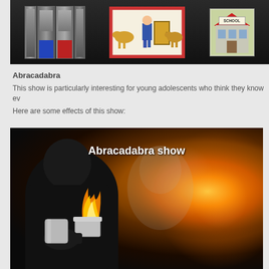[Figure (photo): Magic show props on dark background: a folding screen with blue and red panels on the left, cartoon-illustrated cards in the middle showing cows, a person, and a yellow door, and a school building illustration on the right]
Abracadabra
This show is particularly interesting for young adolescents who think they know ev
Here are some effects of this show:
[Figure (photo): Photo of a young man in black holding a silver cup/bowl with a large flame coming out of it. Behind him is a ghostly figure and a glowing orb of fire on the right side. Text overlay reads 'Abracadabra show'.]